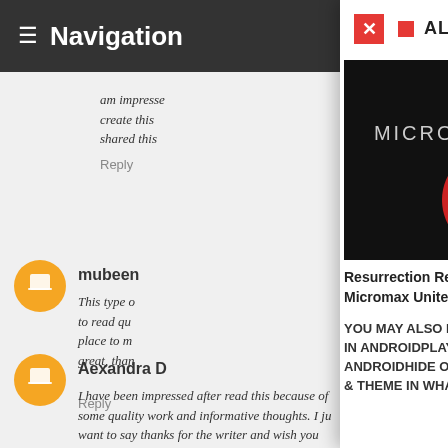Navigation
am impresse
create this
shared this
Reply
mubeen
This type o
to read qu
place to m
great, than
Reply
Aexandra D
I have been impressed after read this because of some quality work and informative thoughts. I just want to say thanks for the writer and wish you the best for coming! Your exuberance is
ALSO READ
[Figure (screenshot): Dark banner image for Micromax Unite 2 showing 'for MICROMAX UNITE 2' text with a red Resurrection Remix logo (stylized F on red circle) on black background]
Resurrection Remix v1 [Lollipop 5.1.1] - Micromax Unite 2
YOU MAY ALSO LIKE:HACK WIFI NETWORKS IN ANDROIDPLAY PSP GAMES IN ANDROIDHIDE ONLINE STATUS, READ TICKS & THEME IN WHAT